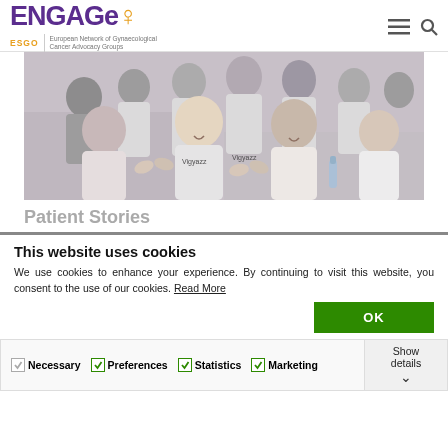ENGAGeO – ESGO European Network of Gynaecological Cancer Advocacy Groups
[Figure (photo): Group of women sitting around tables, smiling and clapping, some wearing white t-shirts with text. Indoor event setting.]
Patient Stories
This website uses cookies
We use cookies to enhance your experience. By continuing to visit this website, you consent to the use of our cookies. Read More
OK
Necessary  Preferences  Statistics  Marketing  Show details